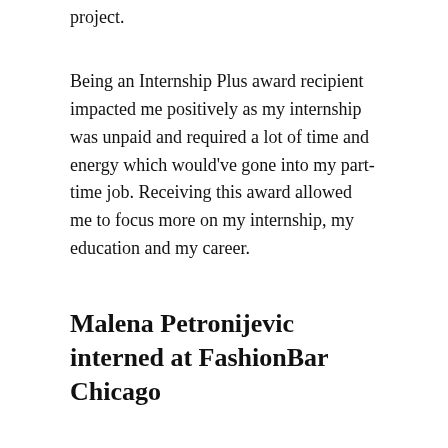project.
Being an Internship Plus award recipient impacted me positively as my internship was unpaid and required a lot of time and energy which would've gone into my part-time job. Receiving this award allowed me to focus more on my internship, my education and my career.
Malena Petronijevic interned at FashionBar Chicago
My internship at FashionBar Chicago in the Water Tower Place has given me the opportunity the gain a better understanding of the technical work a company needs to function efficiently. Not only did I get a finer idea of my management style, but also